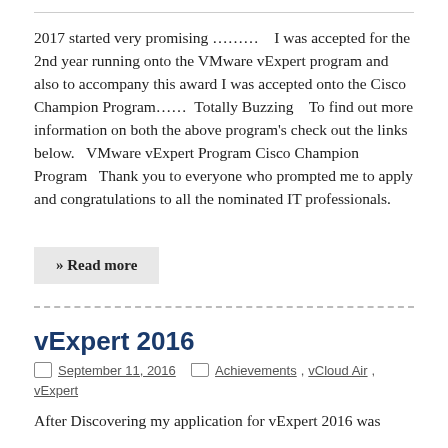2017 started very promising ………    I was accepted for the 2nd year running onto the VMware vExpert program and also to accompany this award I was accepted onto the Cisco Champion Program……  Totally Buzzing    To find out more information on both the above program's check out the links below.   VMware vExpert Program Cisco Champion Program   Thank you to everyone who prompted me to apply and congratulations to all the nominated IT professionals.
» Read more
vExpert 2016
September 11, 2016   Achievements, vCloud Air, vExpert
After Discovering my application for vExpert 2016 was